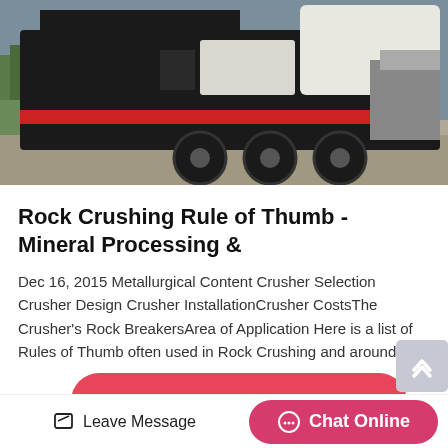[Figure (photo): Large mobile/portable rock crusher machine mounted on a truck chassis, photographed in an outdoor industrial yard with trees in background. Machine is black and white colored.]
Rock Crushing Rule of Thumb - Mineral Processing &
Dec 16, 2015 Metallurgical Content Crusher Selection Crusher Design Crusher InstallationCrusher CostsThe Crusher's Rock BreakersArea of Application Here is a list of Rules of Thumb often used in Rock Crushing and around...
Get [Price]
Leave Message
Chat Online